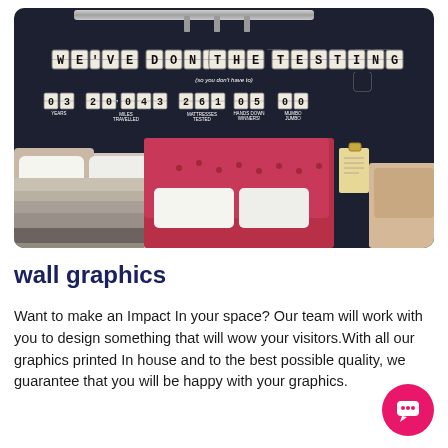[Figure (photo): A dark-walled mattress showroom with flip-board style letter tiles reading 'WE'VE DONE ALL THE TESTING (so you don't have to)' and statistics counters showing numbers like 20,043 miles travelled, 261 mattresses tested, 05 hands down winners, 00 mumbo jumbo. Beds with pink and neutral headboards visible in foreground.]
wall graphics
Want to make an Impact In your space? Our team will work with you to design something that will wow your visitors.With all our graphics printed In house and to the best possible quality, we guarantee that you will be happy with your graphics.